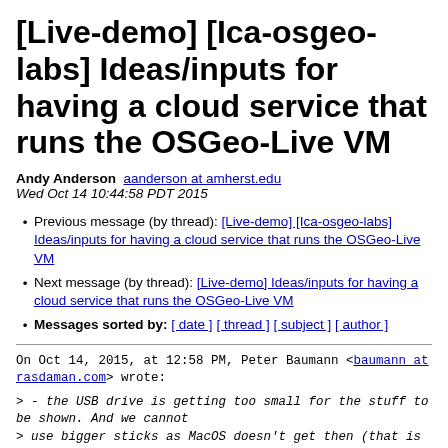[Live-demo] [Ica-osgeo-labs] Ideas/inputs for having a cloud service that runs the OSGeo-Live VM
Andy Anderson  aanderson at amherst.edu
Wed Oct 14 10:44:58 PDT 2015
Previous message (by thread): [Live-demo] [Ica-osgeo-labs] Ideas/inputs for having a cloud service that runs the OSGeo-Live VM
Next message (by thread): [Live-demo] Ideas/inputs for having a cloud service that runs the OSGeo-Live VM
Messages sorted by: [ date ] [ thread ] [ subject ] [ author ]
On Oct 14, 2015, at 12:58 PM, Peter Baumann <baumann at rasdaman.com> wrote:
> - the USB drive is getting too small for the stuff to be shown. And we cannot
> use bigger sticks as MacOS doesn't get then (that is